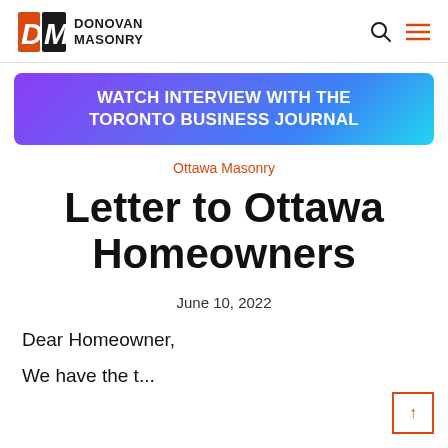DONOVAN MASONRY
[Figure (other): Watch Interview with the Toronto Business Journal banner with purple-to-blue gradient background]
Ottawa Masonry
Letter to Ottawa Homeowners
June 10, 2022
Dear Homeowner,
We have the t...